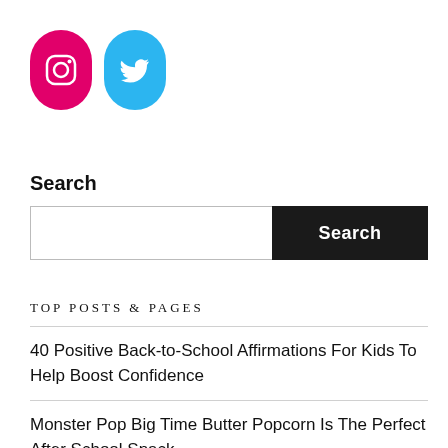[Figure (logo): Instagram icon (pink/magenta rounded rectangle with white camera icon) and Twitter icon (blue rounded rectangle with white bird icon)]
Search
[Figure (other): Search input field with a dark 'Search' button]
TOP POSTS & PAGES
40 Positive Back-to-School Affirmations For Kids To Help Boost Confidence
Monster Pop Big Time Butter Popcorn Is The Perfect After School Snack
How To Increase Productivity While Working From